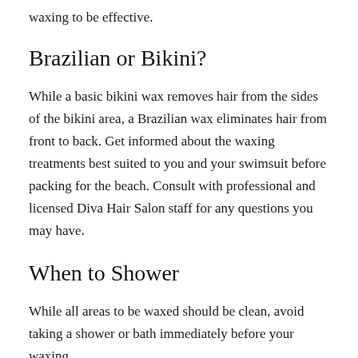waxing to be effective.
Brazilian or Bikini?
While a basic bikini wax removes hair from the sides of the bikini area, a Brazilian wax eliminates hair from front to back. Get informed about the waxing treatments best suited to you and your swimsuit before packing for the beach. Consult with professional and licensed Diva Hair Salon staff for any questions you may have.
When to Shower
While all areas to be waxed should be clean, avoid taking a shower or bath immediately before your waxing